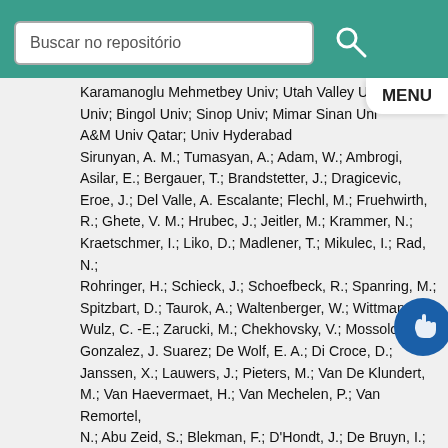Buscar no repositório
Karamanoglu Mehmetbey Univ; Utah Valley Univ; Bingol Univ; Sinop Univ; Mimar Sinan Univ; A&M Univ Qatar; Univ Hyderabad Sirunyan, A. M.; Tumasyan, A.; Adam, W.; Ambrogi, F.; Asilar, E.; Bergauer, T.; Brandstetter, J.; Dragicevic, M.; Eroe, J.; Del Valle, A. Escalante; Flechl, M.; Fruehwirth, R.; Ghete, V. M.; Hrubec, J.; Jeitler, M.; Krammer, N.; Kraetschmer, I.; Liko, D.; Madlener, T.; Mikulec, I.; Rad, N.; Rohringer, H.; Schieck, J.; Schoefbeck, R.; Spanring, M.; Spitzbart, D.; Taurok, A.; Waltenberger, W.; Wittmann, J.; Wulz, C. -E.; Zarucki, M.; Chekhovsky, V.; Mossolov, V.; Gonzalez, J. Suarez; De Wolf, E. A.; Di Croce, D.; Janssen, X.; Lauwers, J.; Pieters, M.; Van De Klundert, M.; Van Haevermaet, H.; Van Mechelen, P.; Van Remortel, N.; Abu Zeid, S.; Blekman, F.; D'Hondt, J.; De Bruyn, I.; De Clercq, J.; Deroover, K.; Flouris, G.; Lontkovskyi, D.; Lowette, S.; Marchesini, I.; Moortgat, S.; Moreels, L.; Python, Q.; Skovpen, K.; Tavernier, S.; Van Doninck, W.;